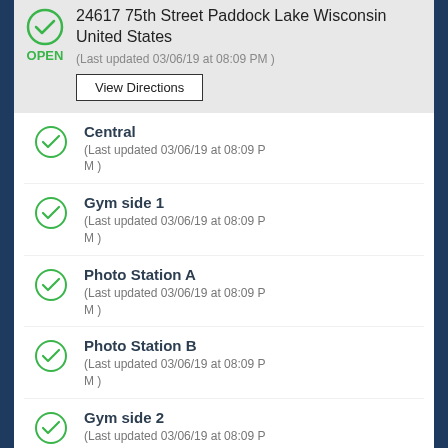24617 75th Street Paddock Lake Wisconsin United States
(Last updated 03/06/19 at 08:09 PM )
View Directions
Central
(Last updated 03/06/19 at 08:09 PM )
Gym side 1
(Last updated 03/06/19 at 08:09 PM )
Photo Station A
(Last updated 03/06/19 at 08:09 PM )
Photo Station B
(Last updated 03/06/19 at 08:09 PM )
Gym side 2
(Last updated 03/06/19 at 08:09 PM )